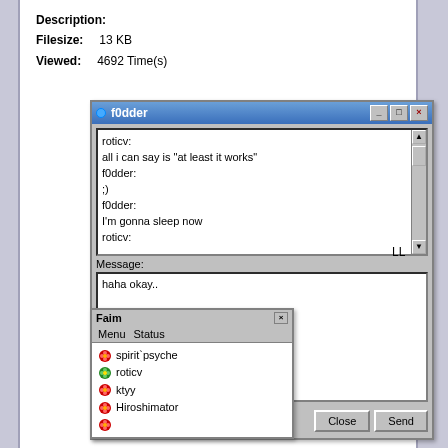Description:
Filesize: 13 KB
Viewed: 4692 Time(s)
[Figure (screenshot): Windows instant messaging chat window titled 'f0dder' showing a conversation between roticv and f0dder. Chat shows: roticv: all i can say is "at least it works" / f0dder: / ;) / f0dder: / I'm gonna sleep now / roticv: . Message input box contains 'haha okay..' with buttons: User Menu, Close, Send.]
[Figure (screenshot): Faim AIM client buddy list window showing contacts: spirit`psyche, roticv, ktyy, Hiroshimator, and one more. Has Menu and Status menus.]